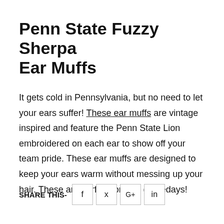Penn State Fuzzy Sherpa Ear Muffs
It gets cold in Pennsylvania, but no need to let your ears suffer! These ear muffs are vintage inspired and feature the Penn State Lion embroidered on each ear to show off your team pride. These ear muffs are designed to keep your ears warm without messing up your hair. These are perfect for cold gamedays!
SHARE THIS- [Facebook] [Twitter] [Google+] [LinkedIn]